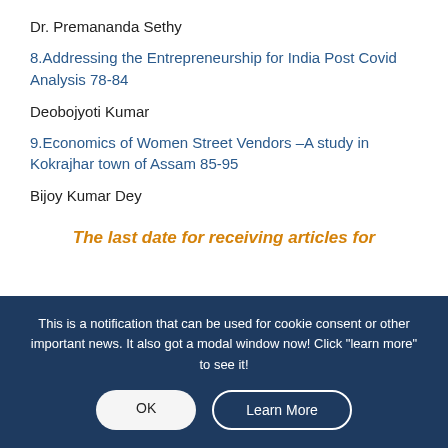Dr. Premananda Sethy
8.Addressing the Entrepreneurship for India Post Covid Analysis 78-84
Deobojyoti Kumar
9.Economics of Women Street Vendors –A study in Kokrajhar town of Assam 85-95
Bijoy Kumar Dey
The last date for receiving articles for
This is a notification that can be used for cookie consent or other important news. It also got a modal window now! Click "learn more" to see it!